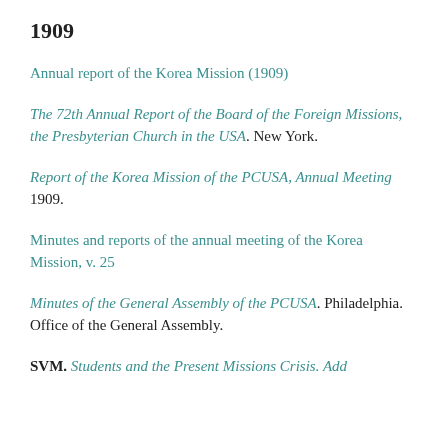1909
Annual report of the Korea Mission (1909)
The 72th Annual Report of the Board of the Foreign Missions, the Presbyterian Church in the USA. New York.
Report of the Korea Mission of the PCUSA, Annual Meeting 1909.
Minutes and reports of the annual meeting of the Korea Mission, v. 25
Minutes of the General Assembly of the PCUSA. Philadelphia. Office of the General Assembly.
SVM. Students and the Present Missions Crisis. Add...